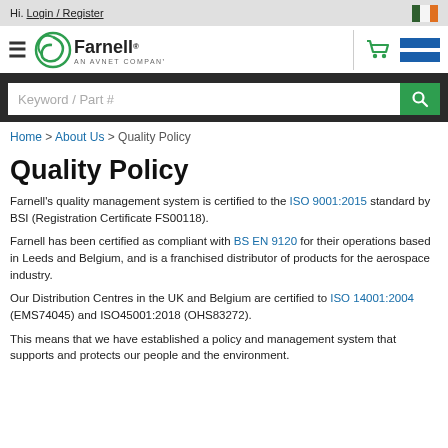Hi. Login / Register
[Figure (logo): Farnell - An Avnet Company logo with navigation icons]
Keyword / Part #
Home > About Us > Quality Policy
Quality Policy
Farnell's quality management system is certified to the ISO 9001:2015 standard by BSI (Registration Certificate FS00118).
Farnell has been certified as compliant with BS EN 9120 for their operations based in Leeds and Belgium, and is a franchised distributor of products for the aerospace industry.
Our Distribution Centres in the UK and Belgium are certified to ISO 14001:2004 (EMS74045) and ISO45001:2018 (OHS83272).
This means that we have established a policy and management system that supports and protects our people and the environment.